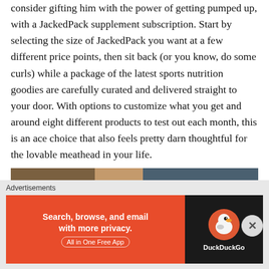consider gifting him with the power of getting pumped up, with a JackedPack supplement subscription. Start by selecting the size of JackedPack you want at a few different price points, then sit back (or you know, do some curls) while a package of the latest sports nutrition goodies are carefully curated and delivered straight to your door. With options to customize what you get and around eight different products to test out each month, this is an ace choice that also feels pretty darn thoughtful for the lovable meathead in your life.
[Figure (photo): Photo of a person's hand gripping a power tool (sander/drill) in a workshop setting with wooden materials in the background]
Advertisements
[Figure (screenshot): DuckDuckGo advertisement banner. Left side orange/red background with text 'Search, browse, and email with more privacy. All in One Free App'. Right side dark background with DuckDuckGo duck logo and 'DuckDuckGo' text.]